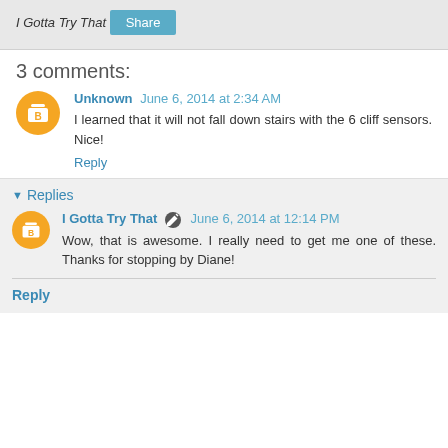I Gotta Try That
Share
3 comments:
Unknown June 6, 2014 at 2:34 AM
I learned that it will not fall down stairs with the 6 cliff sensors. Nice!
Reply
Replies
I Gotta Try That June 6, 2014 at 12:14 PM
Wow, that is awesome. I really need to get me one of these. Thanks for stopping by Diane!
Reply